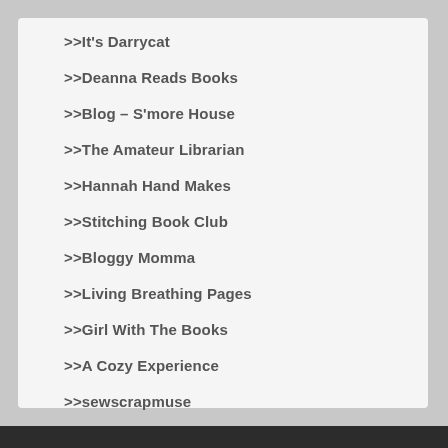>>It's Darrycat
>>Deanna Reads Books
>>Blog – S'more House
>>The Amateur Librarian
>>Hannah Hand Makes
>>Stitching Book Club
>>Bloggy Momma
>>Living Breathing Pages
>>Girl With The Books
>>A Cozy Experience
>>sewscrapmuse
>>What Saysie Makes
>>CreativeCrafter234